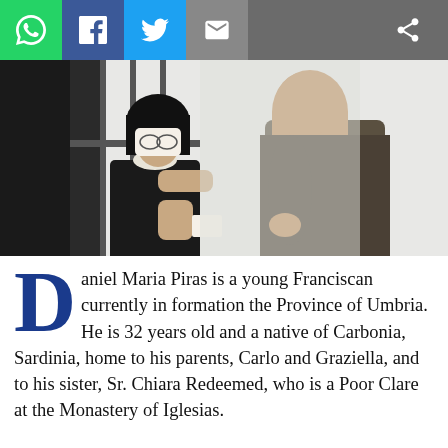[Figure (photo): A nun in black and white habit speaks through iron bars with a man in a brown Franciscan habit.]
Daniel Maria Piras is a young Franciscan currently in formation the Province of Umbria. He is 32 years old and a native of Carbonia, Sardinia, home to his parents, Carlo and Graziella, and to his sister, Sr. Chiara Redeemed, who is a Poor Clare at the Monastery of Iglesias.